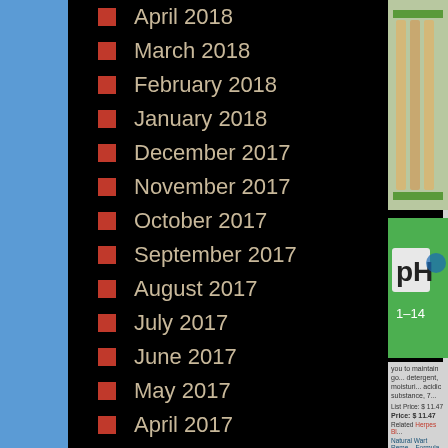April 2018
March 2018
February 2018
January 2018
December 2017
November 2017
October 2017
September 2017
August 2017
July 2017
June 2017
May 2017
April 2017
March 2017
May 2015
April 2015
March 2015
February 2015
January 2015
[Figure (photo): Photo of pH test strips in green packaging]
[Figure (photo): Green pH label showing pH 1-14]
you to maintain go... detergent, moisturi... acidic substance, 7...
List Price: $ 11.47
Price: $ 11.47
Related Herpes Bl...
Natural Wart Reme... Formula, Proven R...